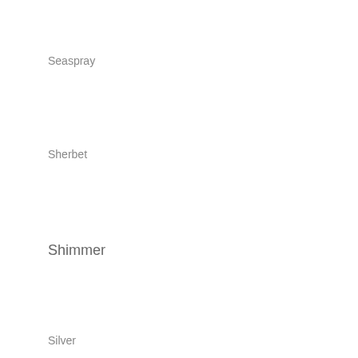Seaspray
Sherbet
Shimmer
Silver
Silver Blossom – Green
Silver Blossom – Pink
Sparklet
Stardust
Strawberry